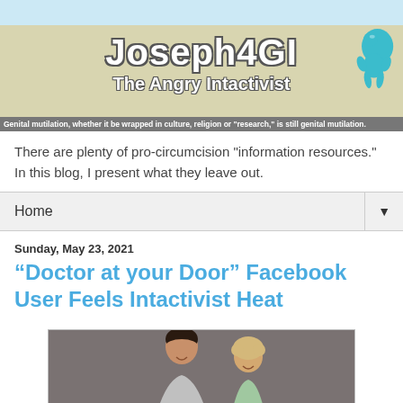[Figure (illustration): Blog banner header with beige/olive background showing 'Joseph4GI' title in large bold impact font with white text and gray outline, subtitle 'The Angry Intactivist', tagline about genital mutilation, and a teal balloon figure on the right]
There are plenty of pro-circumcision "information resources." In this blog, I present what they leave out.
Home
Sunday, May 23, 2021
“Doctor at your Door” Facebook User Feels Intactivist Heat
[Figure (photo): Photo of a woman with short dark hair smiling alongside a young blond child, against a gray background]